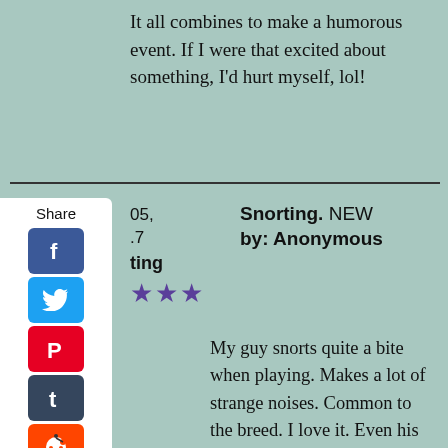It all combines to make a humorous event. If I were that excited about something, I'd hurt myself, lol!
05, .7 ting
Snorting. NEW
by: Anonymous
★★★
My guy snorts quite a bite when playing. Makes a lot of strange noises. Common to the breed. I love it. Even his bark at times is " different " . He has a lot of vocal range....haaaaa. Very comical. I can definitely read his mood and what he's " talking " about based on the noises. Love it :)